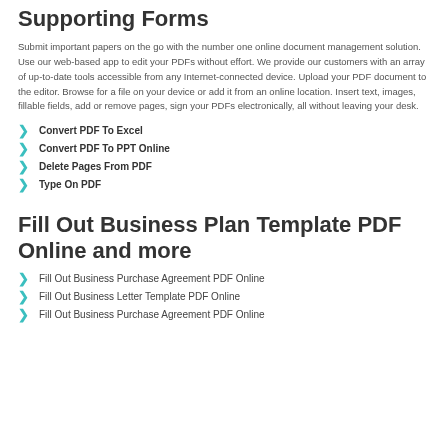Supporting Forms
Submit important papers on the go with the number one online document management solution. Use our web-based app to edit your PDFs without effort. We provide our customers with an array of up-to-date tools accessible from any Internet-connected device. Upload your PDF document to the editor. Browse for a file on your device or add it from an online location. Insert text, images, fillable fields, add or remove pages, sign your PDFs electronically, all without leaving your desk.
Convert PDF To Excel
Convert PDF To PPT Online
Delete Pages From PDF
Type On PDF
Fill Out Business Plan Template PDF Online and more
Fill Out Business Purchase Agreement PDF Online
Fill Out Business Letter Template PDF Online
Fill Out Business Purchase Agreement PDF Online